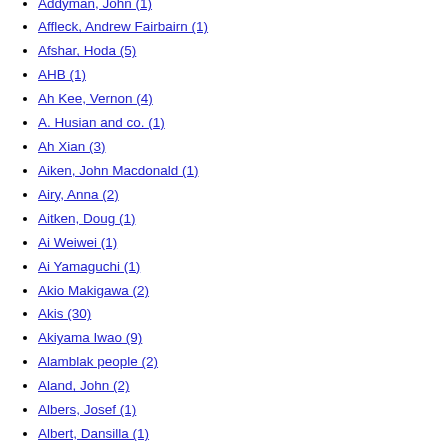Addyman, John (1)
Affleck, Andrew Fairbairn (1)
Afshar, Hoda (5)
AHB (1)
Ah Kee, Vernon (4)
A. Husian and co. (1)
Ah Xian (3)
Aiken, John Macdonald (1)
Airy, Anna (2)
Aitken, Doug (1)
Ai Weiwei (1)
Ai Yamaguchi (1)
Akio Makigawa (2)
Akis (30)
Akiyama Iwao (9)
Alamblak people (2)
Aland, John (2)
Albers, Josef (1)
Albert, Dansilla (1)
Albert, Tony (4)
Albin-Guillot, Laure (1)
Albrecht, Gretchen (2)
Albury, Rod (2)
Alder, Alison (1)
Alderson, Janet (2)
Aldis, Albert Edward (1)